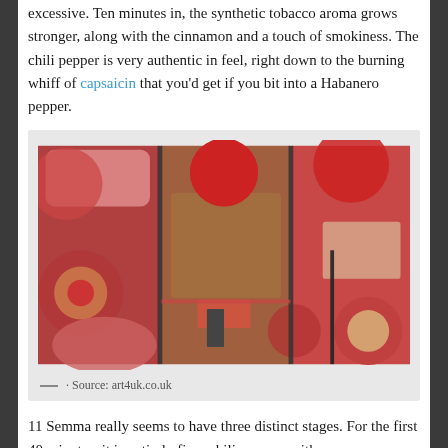excessive. Ten minutes in, the synthetic tobacco aroma grows stronger, along with the cinnamon and a touch of smokiness. The chili pepper is very authentic in feel, right down to the burning whiff of capsaicin that you'd get if you bit into a Habanero pepper.
[Figure (photo): Abstract art image showing geometric shapes — circles, squares, rectangles — in shades of red, crimson, salmon, and brown/tan, arranged in a triptych-like composition with dark vertical dividing lines.]
— · Source: art4uk.co.uk
11 Semma really seems to have three distinct stages. For the first 40 minutes, it is entirely fiery chili peppers with